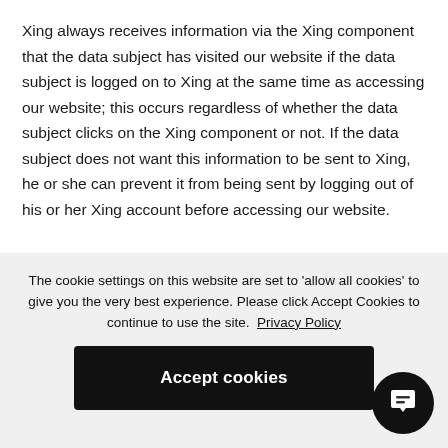Xing always receives information via the Xing component that the data subject has visited our website if the data subject is logged on to Xing at the same time as accessing our website; this occurs regardless of whether the data subject clicks on the Xing component or not. If the data subject does not want this information to be sent to Xing, he or she can prevent it from being sent by logging out of his or her Xing account before accessing our website.
The data protection regulations published by Xing, which
The cookie settings on this website are set to 'allow all cookies' to give you the very best experience. Please click Accept Cookies to continue to use the site. Privacy Policy